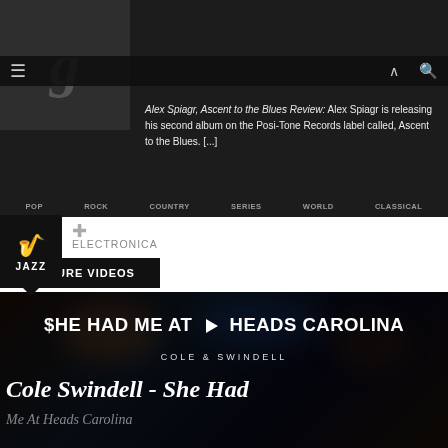[Figure (screenshot): Music website screenshot showing article thumbnail, navigation bar, genre categories (POP, ROCK, COUNTRY, SERIES, WORLD, CLASSICAL), JAZZ icon, ELECTRONICA label, FEATURE VIDEOS banner, and a Cole Swindell video thumbnail with title 'SHE HAD ME AT HEADS CAROLINA' and scrolling text 'Cole Swindell - She Had']
Alex Spiagr, Ascent to the Blues Review: Alex Spirogin is releasing his second album on the Posi-Tone Records label called, Ascent to the Blues. [...]
FEATURE VIDEOS
SHE HAD ME AT HEADS CAROLINA
COLE & SWINDELL
Cole Swindell - She Had